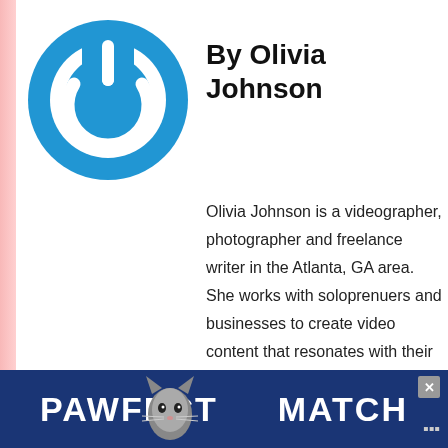[Figure (logo): Blue circular power button logo with white power icon in the center]
By Olivia Johnson
Olivia Johnson is a videographer, photographer and freelance writer in the Atlanta, GA area. She works with soloprenuers and businesses to create video content that resonates with their audiences. Her full-service video production company, Silver Iris Entertainment specializes in commercials, business profiles, and
[Figure (infographic): Left sidebar with heart/like icon showing count of 2, share icon, and What's Next teaser linking to 'How To Work A Networkin...' with a thumbnail photo]
[Figure (infographic): PAWFECT MATCH advertisement banner at the bottom with cat illustration, dark blue background, white bold text, and close button]